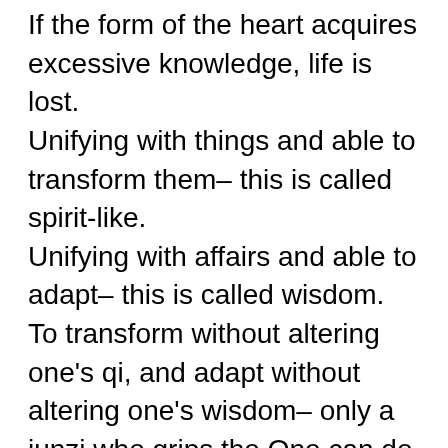If the form of the heart acquires excessive knowledge, life is lost. Unifying with things and able to transform them– this is called spirit-like. Unifying with affairs and able to adapt– this is called wisdom. To transform without altering one's qi, and adapt without altering one's wisdom– only a junzi who grips the One can do this. Gripping the One without fail, he is able to be ruler to the world of things. The junzi manipulates things; he is not manipulated by things. He grasps the principle of the One.